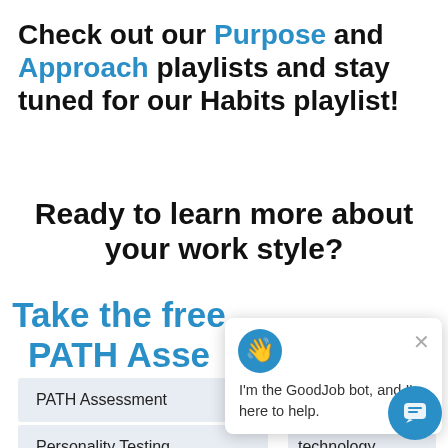Check out our Purpose and Approach playlists and stay tuned for our Habits playlist!
Ready to learn more about your work style?
Take the free PATH Assessment
[Figure (screenshot): GoodJob bot chat popup with hand wave icon, close button, and text 'I'm the GoodJob bot, and I'm here to help.']
PATH Assessment
Personality Testing
technology